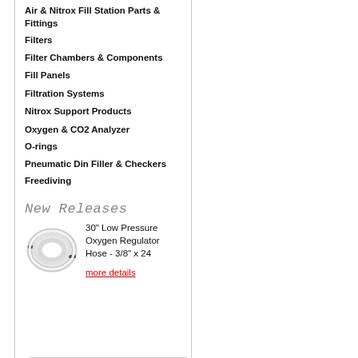Air & Nitrox Fill Station Parts & Fittings
Filters
Filter Chambers & Components
Fill Panels
Filtration Systems
Nitrox Support Products
Oxygen & CO2 Analyzer
O-rings
Pneumatic Din Filler & Checkers
Freediving
New Releases
[Figure (photo): Coiled white hose / regulator hose product photo]
30" Low Pressure Oxygen Regulator Hose - 3/8" x 24
more details